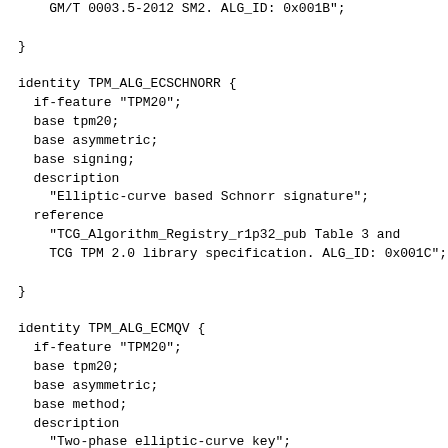GM/T 0003.5-2012 SM2. ALG_ID: 0x001B";

}

identity TPM_ALG_ECSCHNORR {
  if-feature "TPM20";
  base tpm20;
  base asymmetric;
  base signing;
  description
    "Elliptic-curve based Schnorr signature";
  reference
    "TCG_Algorithm_Registry_r1p32_pub Table 3 and
    TCG TPM 2.0 library specification. ALG_ID: 0x001C";

}

identity TPM_ALG_ECMQV {
  if-feature "TPM20";
  base tpm20;
  base asymmetric;
  base method;
  description
    "Two-phase elliptic-curve key";
  reference
    "TCG_Algorithm_Registry_r1p32_pub Table 3 and
    NIST SP800-56A. ALG_ID: 0x001D";

}